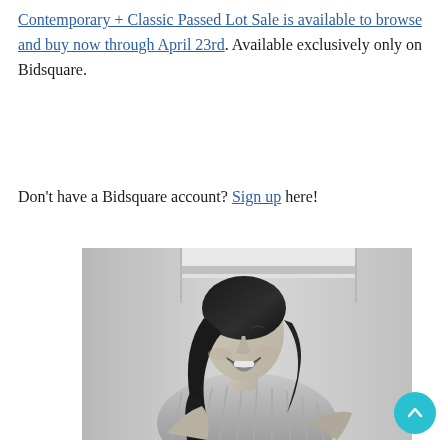Contemporary + Classic Passed Lot Sale is available to browse and buy now through April 23rd. Available exclusively only on Bidsquare.
Don't have a Bidsquare account? Sign up here!
[Figure (photo): Black and white portrait photo of a woman with dark hair, laughing, wearing an off-shoulder striped top, seated against a textured wall with a framed artwork visible in the background.]